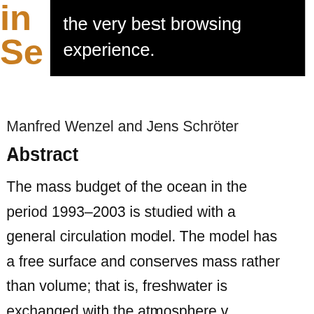in Se
[Figure (screenshot): Black tooltip overlay with white text: 'the very best browsing experience.']
Manfred Wenzel and Jens Schröter
Abstract
The mass budget of the ocean in the period 1993–2003 is studied with a general circulation model. The model has a free surface and conserves mass rather than volume; that is, freshwater is exchanged with the atmosphere via precipitation and evaporation and inflow from land is taken into account. The mass is redistributed by the ocean circulation. Furthermore, the ocean's volume changes by steric expansion with changing temperature and salinity. To estimate the mass changes, the ocean